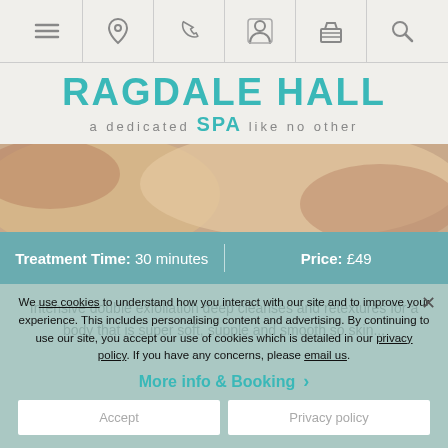Navigation bar with icons: menu, location, phone, person, basket, search
RAGDALE HALL SPA a dedicated SPA like no other
[Figure (photo): Close-up photo of a back massage or body treatment on skin]
Treatment Time: 30 minutes | Price: £49
Intensive double exfoliation deep cleanses and retextures for a body that is super soft, supple and smooth so skin...
We use cookies to understand how you interact with our site and to improve your experience. This includes personalising content and advertising. By continuing to use our site, you accept our use of cookies which is detailed in our privacy policy. If you have any concerns, please email us.
More info & Booking >
Accept   Privacy policy
[Figure (photo): Bottom partial photo of another spa treatment]